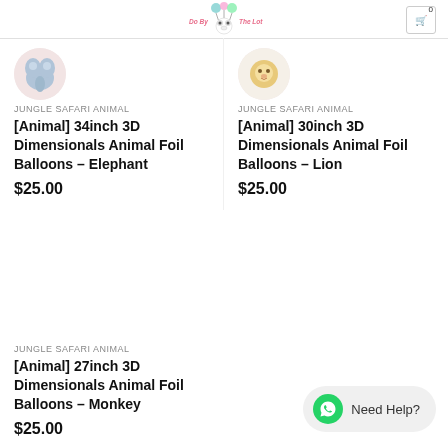[Figure (logo): Store logo with panda and balloons, text 'Do By The Lot']
JUNGLE SAFARI ANIMAL
[Animal] 34inch 3D Dimensionals Animal Foil Balloons – Elephant
$25.00
JUNGLE SAFARI ANIMAL
[Animal] 30inch 3D Dimensionals Animal Foil Balloons – Lion
$25.00
JUNGLE SAFARI ANIMAL
[Animal] 27inch 3D Dimensionals Animal Foil Balloons – Monkey
$25.00
Need Help?